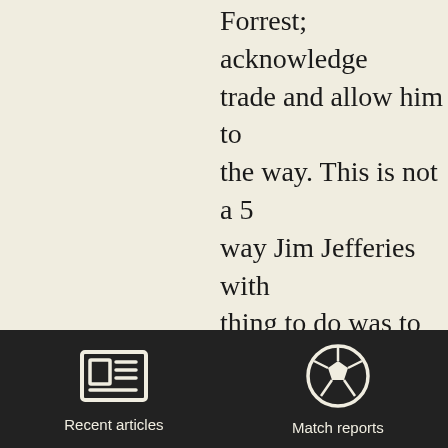Forrest; acknowledge trade and allow him to the way. This is not a 5 way Jim Jefferies with thing to do was to cut guy who engages ever at Valley Parade and h caused by personal lim case of Jefferies, cause bothered doing things

This could all change
[Figure (screenshot): Dark navigation bar at bottom with two icons: 'Recent articles' (newspaper icon) and 'Match reports' (soccer ball icon)]